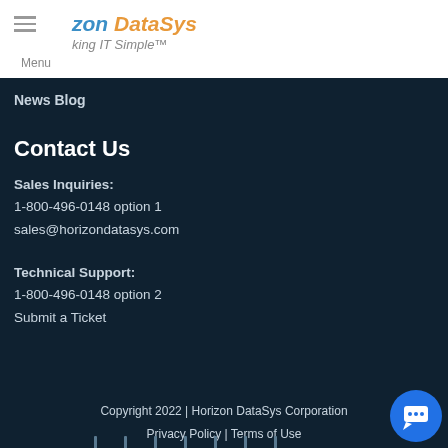Horizon DataSys — Making IT Simple™
News Blog
Contact Us
Sales Inquiries:
1-800-496-0148 option 1
sales@horizondatasys.com
Technical Support:
1-800-496-0148 option 2
Submit a Ticket
Copyright 2022 | Horizon DataSys Corporation
Privacy Policy | Terms of Use